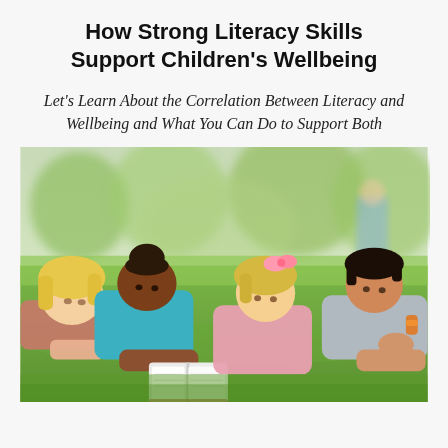How Strong Literacy Skills Support Children's Wellbeing
Let's Learn About the Correlation Between Literacy and Wellbeing and What You Can Do to Support Both
[Figure (photo): Four children lying on green grass in a park, reading a book together. A blonde girl on the far left, a Black girl with hair bun in teal shirt, a blonde girl with pink hair bow in the middle-right, and a boy with dark hair in a gray shirt on the far right. Blurred trees and another child visible in the background.]